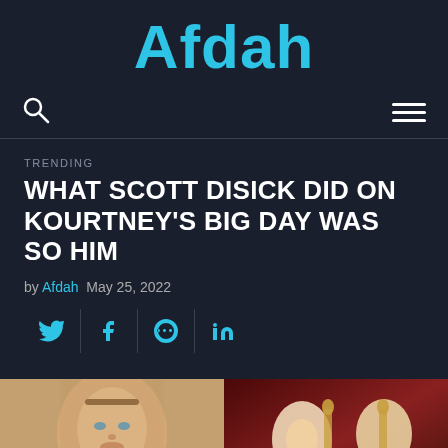Afdah
TRENDING
WHAT SCOTT DISICK DID ON KOURTNEY'S BIG DAY WAS SO HIM
by Afdah  May 25, 2022
[Figure (screenshot): Social media share buttons: Twitter, Facebook, Pinterest, LinkedIn]
[Figure (photo): Left: close-up selfie of Scott Disick with blue eyes. Right: Kourtney Kardashian and Travis Barker at their wedding.]